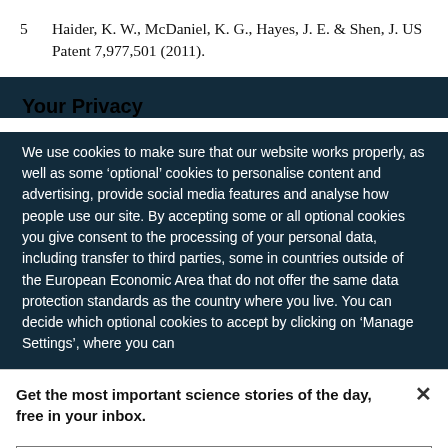5  Haider, K. W., McDaniel, K. G., Hayes, J. E. & Shen, J. US Patent 7,977,501 (2011).
Your Privacy
We use cookies to make sure that our website works properly, as well as some ‘optional’ cookies to personalise content and advertising, provide social media features and analyse how people use our site. By accepting some or all optional cookies you give consent to the processing of your personal data, including transfer to third parties, some in countries outside of the European Economic Area that do not offer the same data protection standards as the country where you live. You can decide which optional cookies to accept by clicking on ‘Manage Settings’, where you can
Get the most important science stories of the day, free in your inbox.
Sign up for Nature Briefing